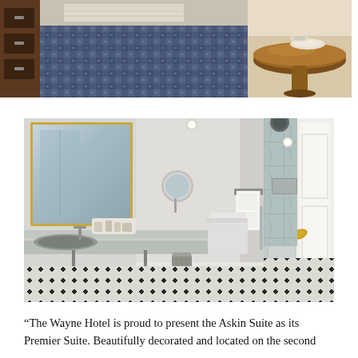[Figure (photo): Two hotel room photos side by side: left shows a room with blue patterned carpet and wooden furniture/dresser; right shows a round wooden table with items on it.]
[Figure (photo): Luxury hotel bathroom with large mirror in gold frame, marble counter with sink and toiletries, glass-enclosed shower with marble tile walls, black and white mosaic tile floor, white door with brass handle.]
“The Wayne Hotel is proud to present the Askin Suite as its Premier Suite. Beautifully decorated and located on the second